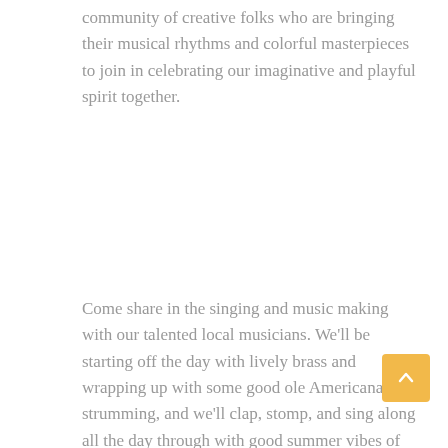community of creative folks who are bringing their musical rhythms and colorful masterpieces to join in celebrating our imaginative and playful spirit together.
Come share in the singing and music making with our talented local musicians. We'll be starting off the day with lively brass and wrapping up with some good ole Americana strumming, and we'll clap, stomp, and sing along all the day through with good summer vibes of all kinds. Check out the full lineup for more information.
Along with the musical artistry, we'll also be featuring the rich and diverse work of local artists whose craft with color, texture, form,